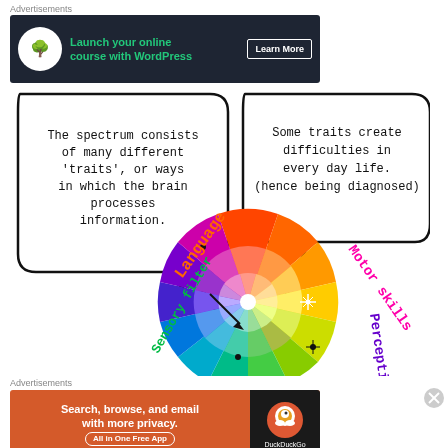Advertisements
[Figure (infographic): Advertisement banner: Launch your online course with WordPress - Learn More button, dark background with green text and tree icon]
[Figure (infographic): Colorful wheel/spectrum diagram showing neurodiversity traits including Language, Motor Skills, Perception, Sensory Filter. Speech bubbles explain: 'The spectrum consists of many different traits, or ways in which the brain processes information.' and 'Some traits create difficulties in every day life. (hence being diagnosed)']
Advertisements
[Figure (infographic): DuckDuckGo advertisement: Search, browse, and email with more privacy. All in One Free App - orange background with DuckDuckGo logo]